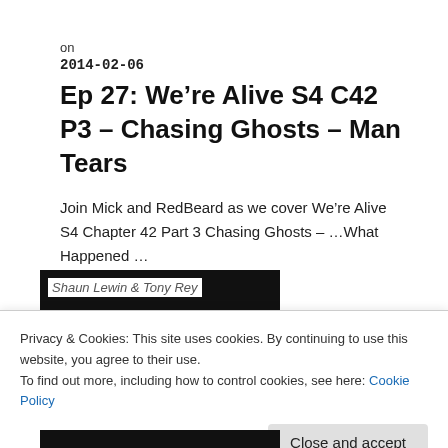on
2014-02-06
Ep 27: We’re Alive S4 C42 P3 – Chasing Ghosts – Man Tears
Join Mick and RedBeard as we cover We’re Alive S4 Chapter 42 Part 3 Chasing Ghosts – …What Happened …
[Figure (photo): Thumbnail image labeled 'Shaun Lewin & Tony Rey' on dark background]
Privacy & Cookies: This site uses cookies. By continuing to use this website, you agree to their use.
To find out more, including how to control cookies, see here: Cookie Policy
Close and accept